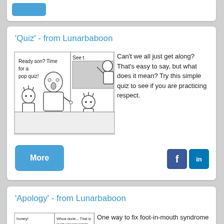[Figure (illustration): Partial card with blue More button at top]
'Quiz' - from Lunarbaboon
[Figure (illustration): Comic strip showing a bald adult saying 'Ready son? Time for a pop quiz!' and another panel showing 'See t...' and 'Yeah!']
Can't we all just get along? That's easy to say, but what does it mean? Try this simple quiz to see if you are practicing respect.
[Figure (illustration): More button (blue rounded rectangle) and Facebook/LinkedIn social icons]
'Apology' - from Lunarbaboon
[Figure (illustration): Comic strip showing characters with speech bubbles: 'honey!', '-gross.', 'Whoa dude... That is really inappropriate and rude.']
One way to fix foot-in-mouth syndrome is to practice deep respect. Spread the love and...